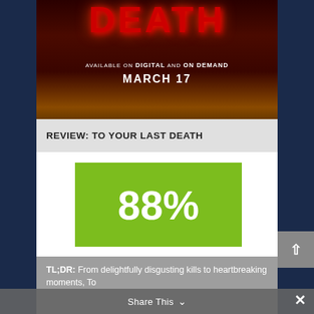[Figure (photo): Movie poster for 'To Your Last Death' showing red dripping text 'DEATH' at top with dark fiery background and text reading 'AVAILABLE ON DIGITAL AND ON DEMAND MARCH 17']
REVIEW: TO YOUR LAST DEATH
[Figure (infographic): Green score box showing 88% rating]
TL;DR: From delightfully disgusting kills to heartbreaking moments, To
Share This